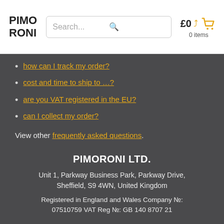PIMORONI | Search... | £0 0 items
how can I track my order?
cost and time to ship to …?
are you VAT registered in the EU?
can I collect my order?
View other frequently asked questions.
PIMORONI LTD.
Unit 1, Parkway Business Park, Parkway Drive, Sheffield, S9 4WN, United Kingdom
Registered in England and Wales Company №: 07510759 VAT Reg №: GB 140 8707 21